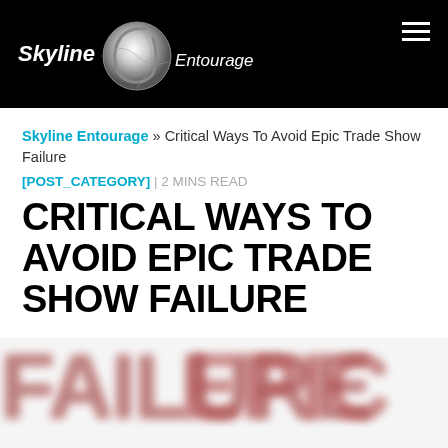Skyline Entourage
Skyline Entourage » Critical Ways To Avoid Epic Trade Show Failure
[POST_CATEGORY] | 2 MINS READ
CRITICAL WAYS TO AVOID EPIC TRADE SHOW FAILURE
[Figure (photo): Blurred red and gray text/logo image at the bottom of the page]